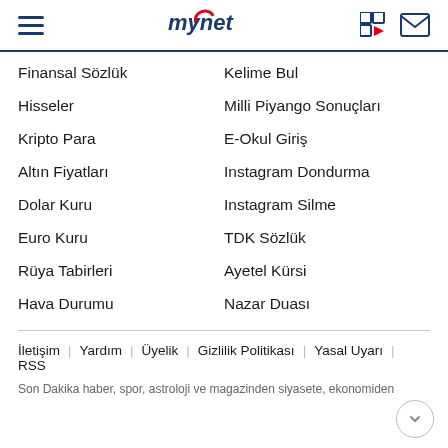mynet
Finansal Sözlük
Kelime Bul
Hisseler
Milli Piyango Sonuçları
Kripto Para
E-Okul Giriş
Altın Fiyatları
Instagram Dondurma
Dolar Kuru
Instagram Silme
Euro Kuru
TDK Sözlük
Rüya Tabirleri
Ayetel Kürsi
Hava Durumu
Nazar Duası
İletişim | Yardım | Üyelik | Gizlilik Politikası | Yasal Uyarı | RSS
Son Dakika haber, spor, astroloji ve magazinden siyasete, ekonomiden